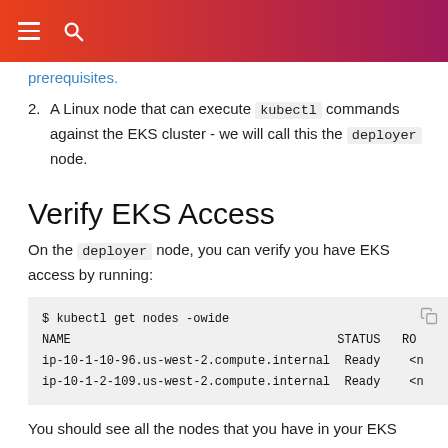≡ 🔍
prerequisites.
2. A Linux node that can execute kubectl commands against the EKS cluster - we will call this the deployer node.
Verify EKS Access
On the deployer node, you can verify you have EKS access by running:
$ kubectl get nodes -owide
NAME                                      STATUS   RO
ip-10-1-10-96.us-west-2.compute.internal  Ready    <n
ip-10-1-2-109.us-west-2.compute.internal  Ready    <n
You should see all the nodes that you have in your EKS